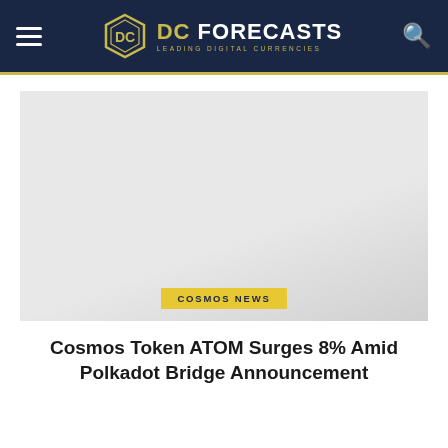DC FORECASTS — LEADING DIGITAL CURRENCIES
[Figure (photo): Light gray placeholder image with COSMOS NEWS badge overlay at the bottom center]
Cosmos Token ATOM Surges 8% Amid Polkadot Bridge Announcement